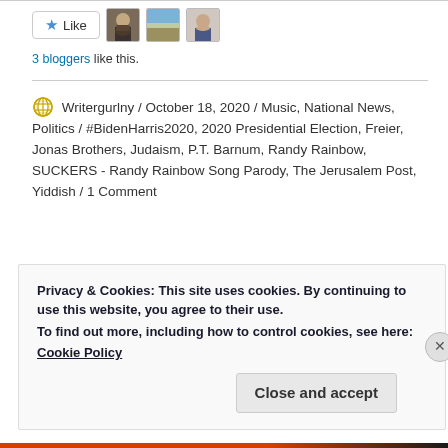[Figure (other): Like button with star icon, followed by three small avatar photos of bloggers]
3 bloggers like this.
Writergurlny / October 18, 2020 / Music, National News, Politics / #BidenHarris2020, 2020 Presidential Election, Freier, Jonas Brothers, Judaism, P.T. Barnum, Randy Rainbow, SUCKERS - Randy Rainbow Song Parody, The Jerusalem Post, Yiddish / 1 Comment
Privacy & Cookies: This site uses cookies. By continuing to use this website, you agree to their use.
To find out more, including how to control cookies, see here:
Cookie Policy
Close and accept